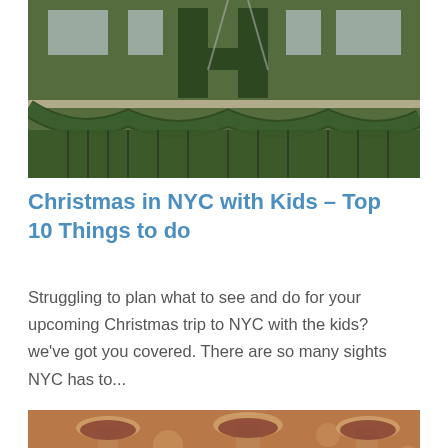[Figure (photo): A building facade decorated with lush green ivy/garland Christmas decorations, large H letter in green on the building, festive swag decorations across windows]
Christmas in NYC with Kids – Top 10 Things to do
Struggling to plan what to see and do for your upcoming Christmas trip to NYC with the kids? we've got you covered. There are so many sights NYC has to...
[Figure (photo): People toasting with wine glasses outdoors, blurred background]